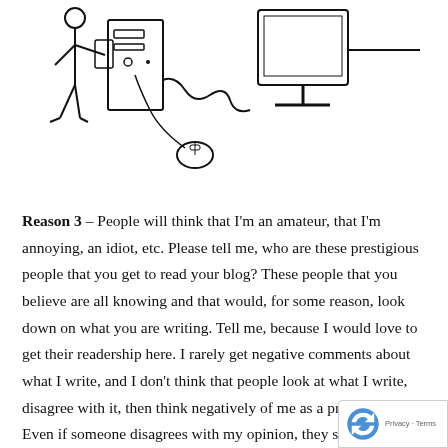[Figure (illustration): Line drawing illustration showing a person standing next to a computer tower, monitor, and mouse on a desk, partially cropped at top]
Reason 3 – People will think that I'm an amateur, that I'm annoying, an idiot, etc. Please tell me, who are these prestigious people that you get to read your blog? These people that you believe are all knowing and that would, for some reason, look down on what you are writing. Tell me, because I would love to get their readership here. I rarely get negative comments about what I write, and I don't think that people look at what I write, disagree with it, then think negatively of me as a practitioner. Even if someone disagrees with my opinion, they still respect that I had the guts to in the first place. Also, who do you think is so importan reading your stuff? What makes them know so much more